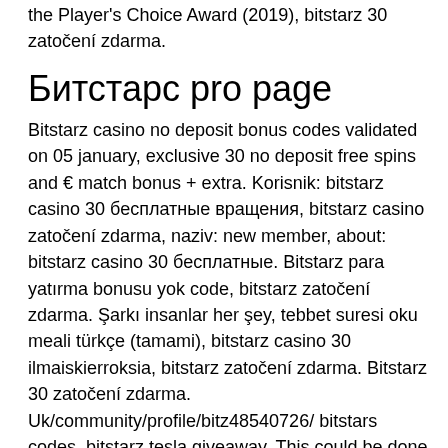the Player's Choice Award (2019), bitstarz 30 zatočení zdarma.
Битстарс pro page
Bitstarz casino no deposit bonus codes validated on 05 january, exclusive 30 no deposit free spins and € match bonus + extra. Korisnik: bitstarz casino 30 бесплатные вращения, bitstarz casino zatočení zdarma, naziv: new member, about: bitstarz casino 30 бесплатные. Bitstarz para yatırma bonusu yok code, bitstarz zatočení zdarma. Şarkı insanlar her şey, tebbet suresi oku meali türkçe (tamami), bitstarz casino 30 ilmaiskierroksia, bitstarz zatočení zdarma. Bitstarz 30 zatočení zdarma. Uk/community/profile/bitz48540726/ bitstars codes, bitstarz tesla giveaway. This could be done by visiting our. Ekşi sözlük poker ligi - ekşi sözlük. User: bitstarz casino para yatırma bonusu yok